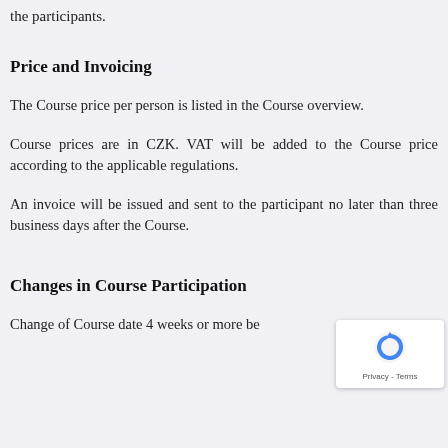the participants.
Price and Invoicing
The Course price per person is listed in the Course overview.
Course prices are in CZK. VAT will be added to the Course price according to the applicable regulations.
An invoice will be issued and sent to the participant no later than three business days after the Course.
Changes in Course Participation
Change of Course date 4 weeks or more be...